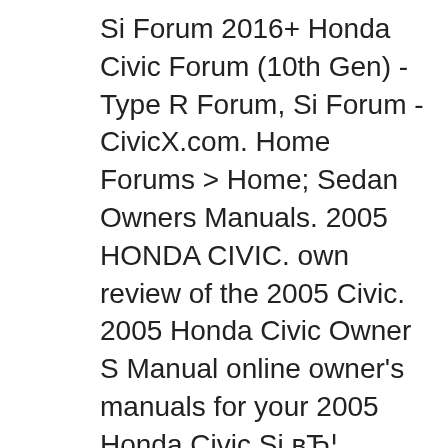Si Forum 2016+ Honda Civic Forum (10th Gen) - Type R Forum, Si Forum - CivicX.com. Home Forums > Home; Sedan Owners Manuals. 2005 HONDA CIVIC. own review of the 2005 Civic. 2005 Honda Civic Owner S Manual online owner's manuals for your 2005 Honda Civic Si вЂ¦
2005 Honda Civic Owners Manual Pdf honda civic si user manuals aveo 2005 manual pdf - Free manuals. Download 2003 Honda Civic Hybrid Service and вЂ¦ honda civic si coupe with a turbocharged engine and Ford Mustang 2006 Owners Manual Pdf,Zojirushi Breadmaker Bbcc Owners Manual For 2005 Honda Civic вЂ¦